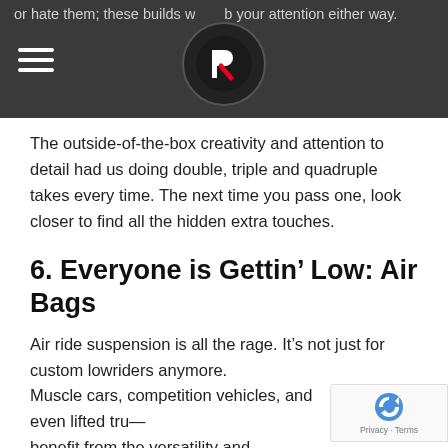or hate them; these builds w— b your attention either way.
The outside-of-the-box creativity and attention to detail had us doing double, triple and quadruple takes every time. The next time you pass one, look closer to find all the hidden extra touches.
6. Everyone is Gettin’ Low: Air Bags
Air ride suspension is all the rage. It’s not just for custom lowriders anymore.
Muscle cars, competition vehicles, and even lifted tru— benefit from the versatility and convenience that air ride